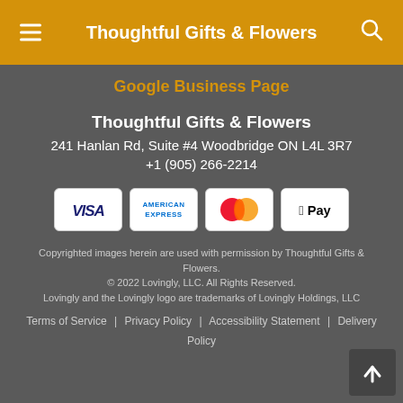Thoughtful Gifts & Flowers
Google Business Page
Thoughtful Gifts & Flowers
241 Hanlan Rd, Suite #4 Woodbridge ON L4L 3R7
+1 (905) 266-2214
[Figure (infographic): Payment method icons: VISA, American Express, Mastercard, Apple Pay]
Copyrighted images herein are used with permission by Thoughtful Gifts & Flowers.
© 2022 Lovingly, LLC. All Rights Reserved.
Lovingly and the Lovingly logo are trademarks of Lovingly Holdings, LLC
Terms of Service | Privacy Policy | Accessibility Statement | Delivery Policy